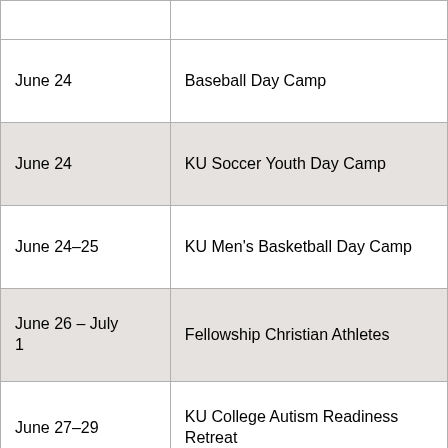| Date | Event |
| --- | --- |
|  |  |
| June 24 | Baseball Day Camp |
| June 24 | KU Soccer Youth Day Camp |
| June 24–25 | KU Men's Basketball Day Camp |
| June 26 – July 1 | Fellowship Christian Athletes |
| June 27–29 | KU College Autism Readiness Retreat |
| June 27 – July 1 | KU Art Institute |